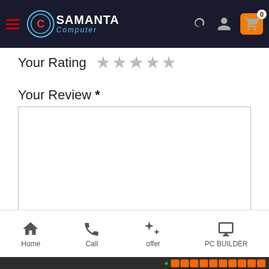[Figure (screenshot): Samanta Computer website header with hamburger menu, logo, search icon, user icon, and shopping cart icon showing 0 items]
Your Rating ★★★★★
Your Review *
[Figure (other): Empty text area input box for review]
Name *
[Figure (other): Text input field for name]
Home  Call  offer  PC BUILDER